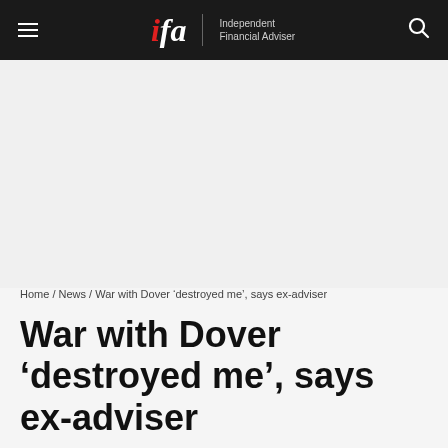ifa | Independent Financial Adviser
[Figure (other): Advertisement / blank space area]
Home / News / War with Dover ‘destroyed me’, says ex-adviser
War with Dover ‘destroyed me’, says ex-adviser